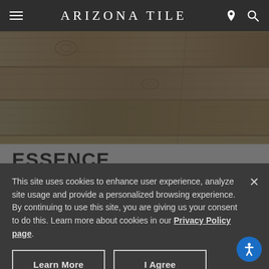ARIZONA TILE
[Figure (photo): Close-up photo of wood-look tile flooring with light tan/brown tones showing wood grain texture and knots]
ESSENCE
Select from product options below to view larger images and installation photos.
5) PRICING OPTIONS
This site uses cookies to enhance user experience, analyze site usage and provide a personalized browsing experience. By continuing to use this site, you are giving us your consent to do this. Learn more about cookies in our Privacy Policy page.
Learn More
I Agree